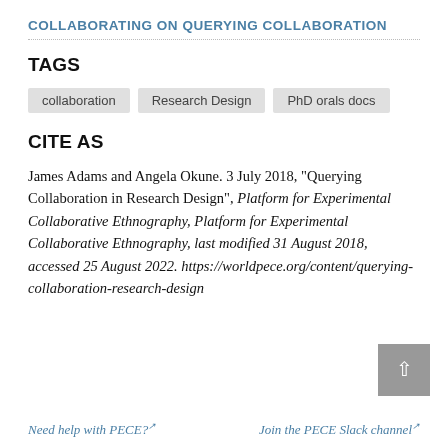COLLABORATING ON QUERYING COLLABORATION
TAGS
collaboration
Research Design
PhD orals docs
CITE AS
James Adams and Angela Okune. 3 July 2018, "Querying Collaboration in Research Design", Platform for Experimental Collaborative Ethnography, Platform for Experimental Collaborative Ethnography, last modified 31 August 2018, accessed 25 August 2022. https://worldpece.org/content/querying-collaboration-research-design
Need help with PECE? ↗    Join the PECE Slack channel ↗